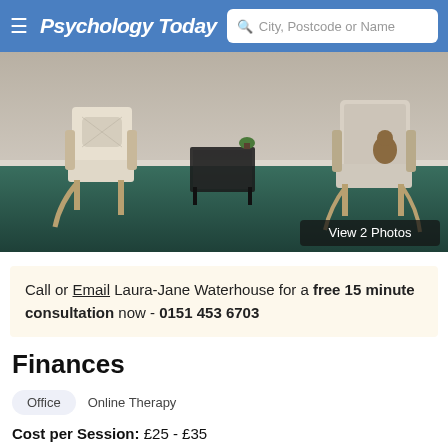Psychology Today  City, Postcode or Name
[Figure (photo): Therapy office room with two chairs (one cream recliner on left, one patterned armchair on right), a small black glass table in the centre, green carpet floor, and beige walls. Overlay button reads 'View 2 Photos'.]
Call or Email Laura-Jane Waterhouse for a free 15 minute consultation now - 0151 453 6703
Finances
Office
Online Therapy
Cost per Session: £25 - £35